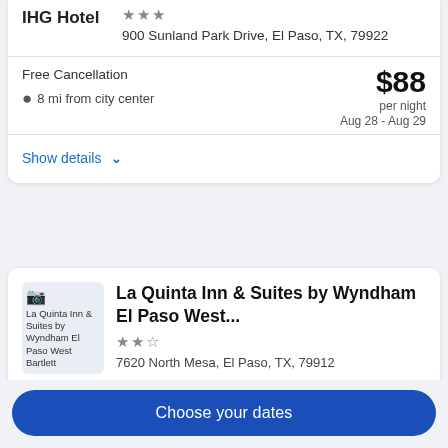IHG Hotel
900 Sunland Park Drive, El Paso, TX, 79922
Free Cancellation
8 mi from city center
$88 per night Aug 28 - Aug 29
Show details
La Quinta Inn & Suites by Wyndham El Paso West...
7620 North Mesa, El Paso, TX, 79912
Choose your dates